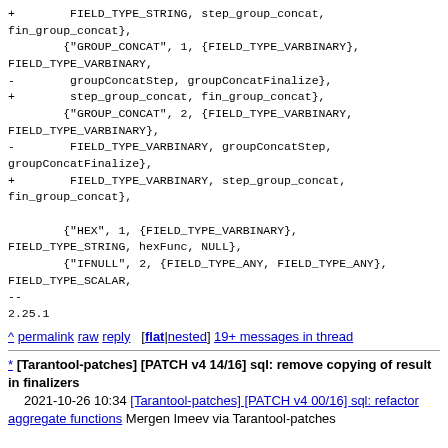FIELD_TYPE_STRING, step_group_concat, fin_group_concat},
{"GROUP_CONCAT", 1, {FIELD_TYPE_VARBINARY}, FIELD_TYPE_VARBINARY,
- groupConcatStep, groupConcatFinalize},
+ step_group_concat, fin_group_concat},
{"GROUP_CONCAT", 2, {FIELD_TYPE_VARBINARY, FIELD_TYPE_VARBINARY},
- FIELD_TYPE_VARBINARY, groupConcatStep, groupConcatFinalize},
+ FIELD_TYPE_VARBINARY, step_group_concat, fin_group_concat},

{"HEX", 1, {FIELD_TYPE_VARBINARY}, FIELD_TYPE_STRING, hexFunc, NULL},
{"IFNULL", 2, {FIELD_TYPE_ANY, FIELD_TYPE_ANY}, FIELD_TYPE_SCALAR,
--
2.25.1
^ permalink raw reply [flat|nested] 19+ messages in thread
* [Tarantool-patches] [PATCH v4 14/16] sql: remove copying of result in finalizers
  2021-10-26 10:34 [Tarantool-patches] [PATCH v4 00/16] sql: refactor aggregate functions Mergen Imeev via Tarantool-patches